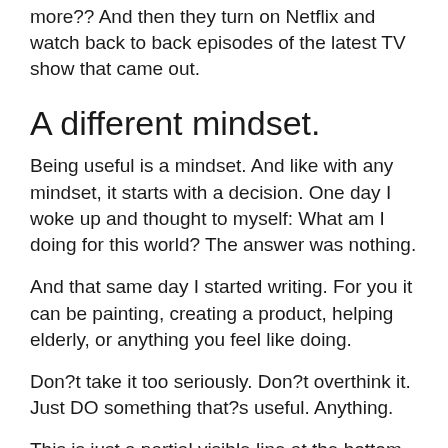more?? And then they turn on Netflix and watch back to back episodes of the latest TV show that came out.
A different mindset.
Being useful is a mindset. And like with any mindset, it starts with a decision. One day I woke up and thought to myself: What am I doing for this world? The answer was nothing.
And that same day I started writing. For you it can be painting, creating a product, helping elderly, or anything you feel like doing.
Don?t take it too seriously. Don?t overthink it. Just DO something that?s useful. Anything.
This is just a partial visible line at the bottom.